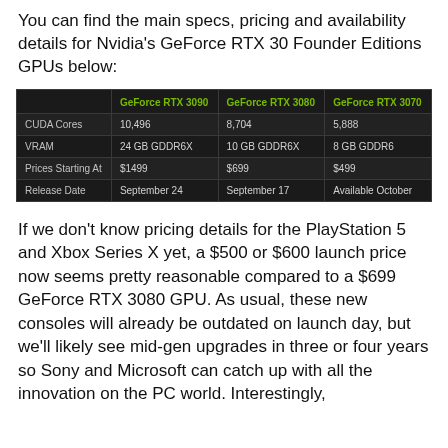You can find the main specs, pricing and availability details for Nvidia's GeForce RTX 30 Founder Editions GPUs below:
|  | GeForce RTX 3090 | GeForce RTX 3080 | GeForce RTX 3070 |
| --- | --- | --- | --- |
| CUDA Cores | 10,496 | 8,704 | 5,888 |
| VRAM | 24 GB GDDR6X | 10 GB GDDR6X | 8 GB GDDR6 |
| Prices Starting At | $1499 | $699 | $499 |
| Release Date | September 24 | September 17 | Available October |
If we don't know pricing details for the PlayStation 5 and Xbox Series X yet, a $500 or $600 launch price now seems pretty reasonable compared to a $699 GeForce RTX 3080 GPU. As usual, these new consoles will already be outdated on launch day, but we'll likely see mid-gen upgrades in three or four years so Sony and Microsoft can catch up with all the innovation on the PC world. Interestingly,